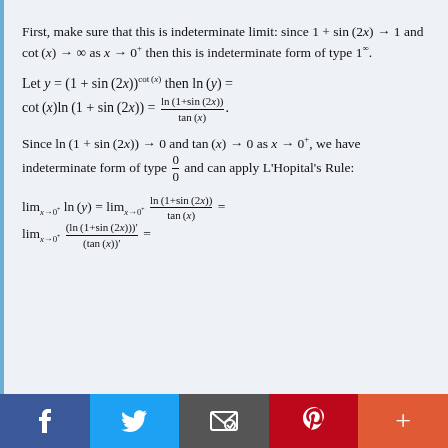First, make sure that this is indeterminate limit: since 1 + sin(2x) → 1 and cot(x) → ∞ as x → 0⁺ then this is indeterminate form of type 1^∞.
Since ln(1 + sin(2x)) → 0 and tan(x) → 0 as x → 0⁺, we have indeterminate form of type 0/0 and can apply L'Hopital's Rule:
Facebook, Twitter, Email, Pinterest, Plus